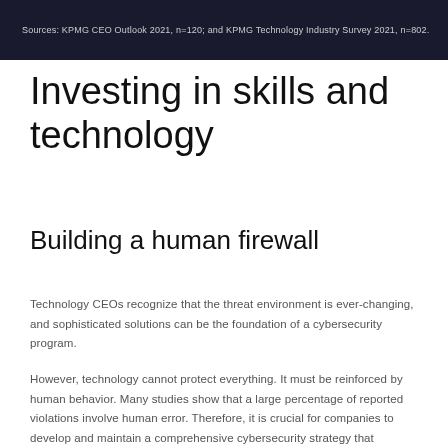Sources: KPMG CEO Outlook 2021, n=120; and KPMG Technology Industry Survey 2021, n=802.
Investing in skills and technology
Building a human firewall
Technology CEOs recognize that the threat environment is ever-changing, and sophisticated solutions can be the foundation of a cybersecurity program.
However, technology cannot protect everything. It must be reinforced by human behavior. Many studies show that a large percentage of reported violations involve human error. Therefore, it is crucial for companies to develop and maintain a comprehensive cybersecurity strategy that includes employee skills.